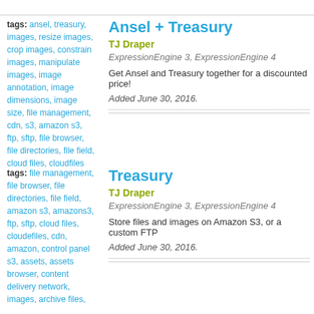tags: ansel, treasury, images, resize images, crop images, constrain images, manipulate images, image annotation, image dimensions, image size, file management, cdn, s3, amazon s3, ftp, sftp, file browser, file directories, file field, cloud files, cloudfiles
Ansel + Treasury
TJ Draper
ExpressionEngine 3, ExpressionEngine 4
Get Ansel and Treasury together for a discounted price!
Added June 30, 2016.
tags: file management, file browser, file directories, file field, amazon s3, amazons3, ftp, sftp, cloud files, cloudefiles, cdn, amazon, control panel s3, assets, assets browser, content delivery network, images, archive files,
Treasury
TJ Draper
ExpressionEngine 3, ExpressionEngine 4
Store files and images on Amazon S3, or a custom FTP
Added June 30, 2016.